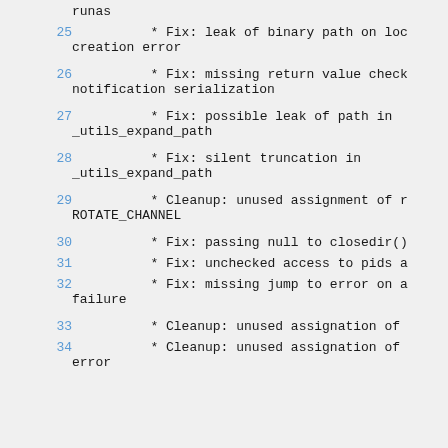runas
25    * Fix: leak of binary path on loc
creation error
26    * Fix: missing return value check
notification serialization
27    * Fix: possible leak of path in
_utils_expand_path
28    * Fix: silent truncation in
_utils_expand_path
29    * Cleanup: unused assignment of r
ROTATE_CHANNEL
30    * Fix: passing null to closedir()
31    * Fix: unchecked access to pids a
32    * Fix: missing jump to error on a
failure
33    * Cleanup: unused assignation of
34    * Cleanup: unused assignation of
error